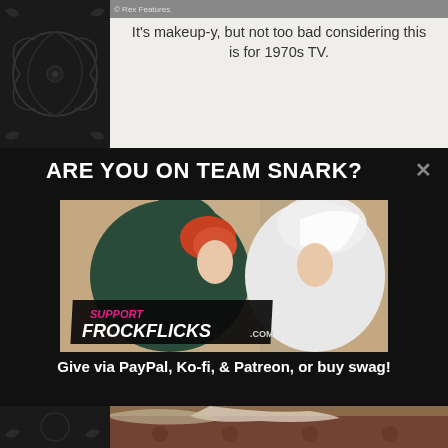It's makeup-y, but not too bad considering this is for 1970s TV.
ARE YOU ON TEAM SNARK?
[Figure (photo): Promotional image showing two women in period costume — one in a dark hooded cloak with red hair, one in a white bridal veil — with overlay text 'SUPPORT FROCKFLICKS.COM']
Give via PayPal, Ko-fi, & Patreon, or buy swag!
[Figure (photo): Partial bottom image showing period costume/dress detail on a patterned rug]